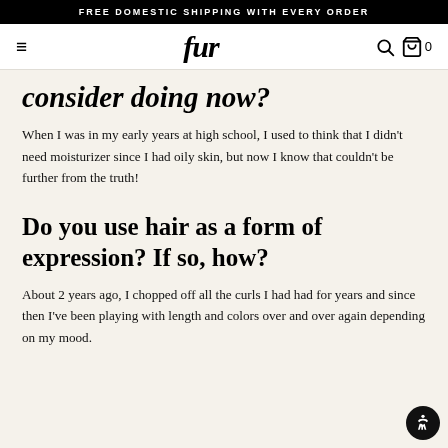FREE DOMESTIC SHIPPING WITH EVERY ORDER
[Figure (screenshot): Navigation bar with hamburger menu, 'fur' logo in italic serif, search icon, bag icon, and 0 cart count]
consider doing now?
When I was in my early years at high school, I used to think that I didn't need moisturizer since I had oily skin, but now I know that couldn't be further from the truth!
Do you use hair as a form of expression? If so, how?
About 2 years ago, I chopped off all the curls I had had for years and since then I've been playing with length and colors over and over again depending on my mood.